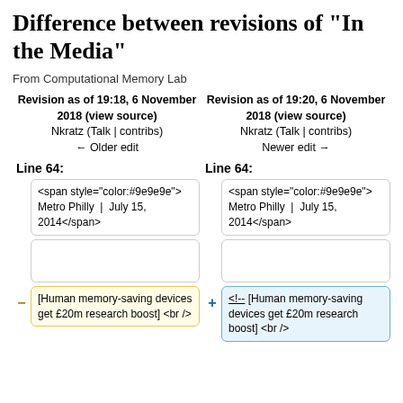Difference between revisions of "In the Media"
From Computational Memory Lab
| Left Revision | Right Revision |
| --- | --- |
| Revision as of 19:18, 6 November 2018 (view source)
Nkratz (Talk | contribs)
← Older edit | Revision as of 19:20, 6 November 2018 (view source)
Nkratz (Talk | contribs)
Newer edit → |
Line 64:
<span style="color:#9e9e9e">Metro Philly | July 15, 2014</span>
<span style="color:#9e9e9e">Metro Philly | July 15, 2014</span>
[Human memory-saving devices get £20m research boost] <br />
<!-- [Human memory-saving devices get £20m research boost] <br />